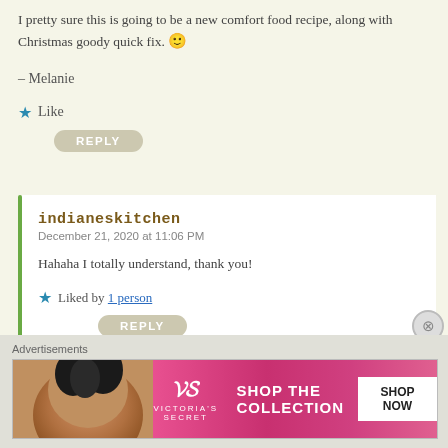I pretty sure this is going to be a new comfort food recipe, along with Christmas goody quick fix. 🙂
– Melanie
★ Like
REPLY
indianeskitchen
December 21, 2020 at 11:06 PM
Hahaha I totally understand, thank you!
★ Liked by 1 person
REPLY
Advertisements
[Figure (photo): Victoria's Secret advertisement banner: woman with curly hair on left, pink background center with VS logo and 'SHOP THE COLLECTION' text, white 'SHOP NOW' button on right]